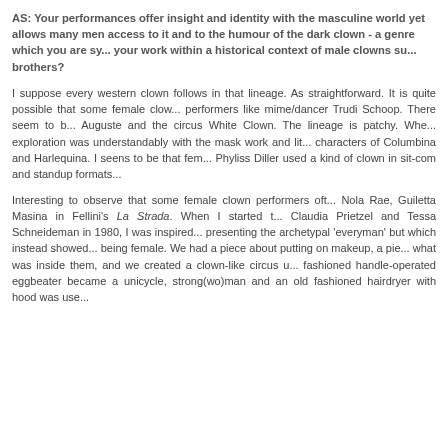AS: Your performances offer insight and identity with the masculine world yet allows many men access to it and to the humour of the dark clown - a genre which you are synonymous with. Can you place your work within a historical context of male clowns such as the Fratellini brothers?
I suppose every western clown follows in that lineage. As straightforward. It is quite possible that some female clown performers like mime/dancer Trudi Schoop. There seem to be Auguste and the circus White Clown. The lineage is patchy. Where exploration was understandably with the mask work and literary characters of Columbina and Harlequina. I seens to be that female Phyliss Diller used a kind of clown in sit-com and standup formats.
Interesting to observe that some female clown performers often Nola Rae, Guiletta Masina in Fellini's La Strada. When I started Claudia Prietzel and Tessa Schneideman in 1980, I was inspired presenting the archetypal 'everyman' but which instead showed being female. We had a piece about putting on makeup, a piece what was inside them, and we created a clown-like circus using fashioned handle-operated eggbeater became a unicycle, strong(wo)man and an old fashioned hairdryer with hood was use